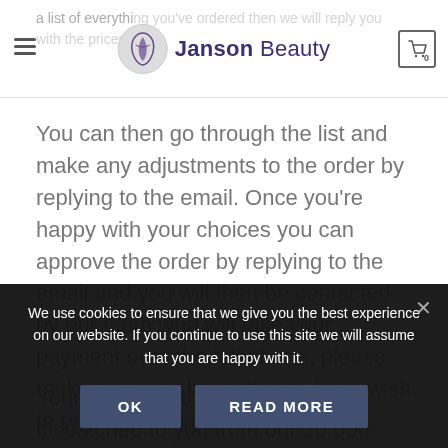Janson Beauty — navigation header with logo and cart
a list of everything you've ordered then we will reply you with the prices.
You can then go through the list and make any adjustments to the order by replying to the email. Once you're happy with your choices you can approve the order by replying to the email and you will then be contacted by our team who will take your payment over the telephone, please make sure you have the card you wish to pay with to hand.
Your order will then be speedily dispatched to you from our 20,000 square foot warehouse in Mitcham. We hope you love your new beauty products! Customer satisfaction is
We use cookies to ensure that we give you the best experience on our website. If you continue to use this site we will assume that you are happy with it.